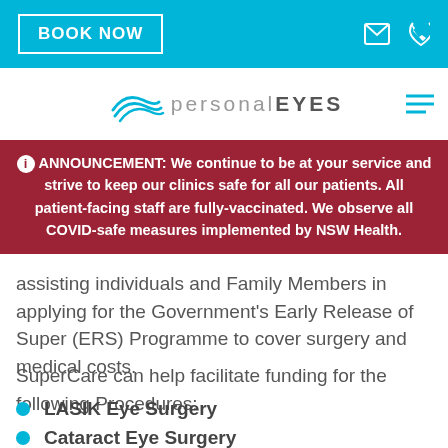BOOK NOW
[Figure (logo): personalEYES logo with wave/eye graphic and brand name]
ℹ ANNOUNCEMENT: We continue to be at your service and strive to keep our clinics safe for all our patients. All patient-facing staff are fully-vaccinated. We observe all COVID-safe measures implemented by NSW Health.
assisting individuals and Family Members in applying for the Government's Early Release of Super (ERS) Programme to cover surgery and medical costs.
SuperCare can help facilitate funding for the following Procedures:
LASIK Eye Surgery
Cataract Eye Surgery
Glaucoma Eye (partially visible)